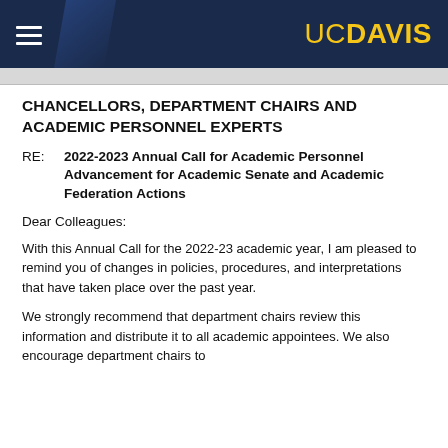UC DAVIS
CHANCELLORS, DEPARTMENT CHAIRS AND ACADEMIC PERSONNEL EXPERTS
RE:    2022-2023 Annual Call for Academic Personnel Advancement for Academic Senate and Academic Federation Actions
Dear Colleagues:
With this Annual Call for the 2022-23 academic year, I am pleased to remind you of changes in policies, procedures, and interpretations that have taken place over the past year.
We strongly recommend that department chairs review this information and distribute it to all academic appointees. We also encourage department chairs to